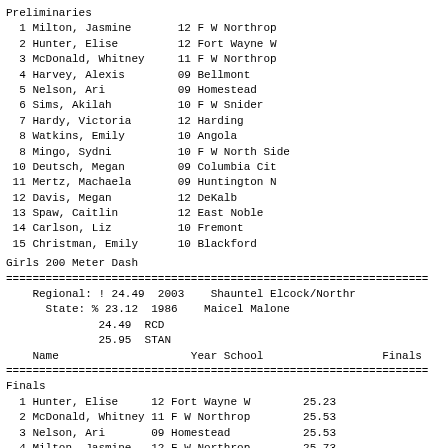Preliminaries
1 Milton, Jasmine       12 F W Northrop
2 Hunter, Elise         12 Fort Wayne W
3 McDonald, Whitney     11 F W Northrop
4 Harvey, Alexis        09 Bellmont
5 Nelson, Ari           09 Homestead
6 Sims, Akilah          10 F W Snider
7 Hardy, Victoria       12 Harding
8 Watkins, Emily        10 Angola
8 Mingo, Sydni          10 F W North Side
10 Deutsch, Megan        09 Columbia Cit
11 Mertz, Machaela       09 Huntington N
12 Davis, Megan          12 DeKalb
13 Spaw, Caitlin         12 East Noble
14 Carlson, Liz          10 Fremont
15 Christman, Emily      10 Blackford
Girls 200 Meter Dash
============================================================================================
Regional: ! 24.49  2003    Shauntel Elcock/Northr
      State: % 23.12  1986    Maicel Malone
              24.49  RCD
              25.95  STAN
| Name | Year School | Finals |
| --- | --- | --- |
| Hunter, Elise | 12 Fort Wayne W | 25.23 |
| McDonald, Whitney | 11 F W Northrop | 25.53 |
| Nelson, Ari | 09 Homestead | 25.53 |
| Milton, Jasmine | 12 F W Northrop | 25.73 |
Finals
1 Hunter, Elise     12 Fort Wayne W   25.23
2 McDonald, Whitney 11 F W Northrop   25.53
3 Nelson, Ari       09 Homestead      25.53
4 Milton, Jasmine   12 F W Northrop   25.73